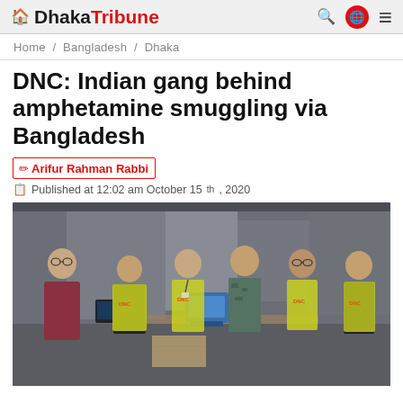Dhaka Tribune
Home / Bangladesh / Dhaka
DNC: Indian gang behind amphetamine smuggling via Bangladesh
Arifur Rahman Rabbi
Published at 12:02 am October 15th, 2020
[Figure (photo): Six men standing in what appears to be an airport or official facility. Five of them are wearing yellow/green high-visibility vests with 'DNC' markings. One man in the center is wearing a blue camouflage uniform. A blue device is on a desk in front of them.]